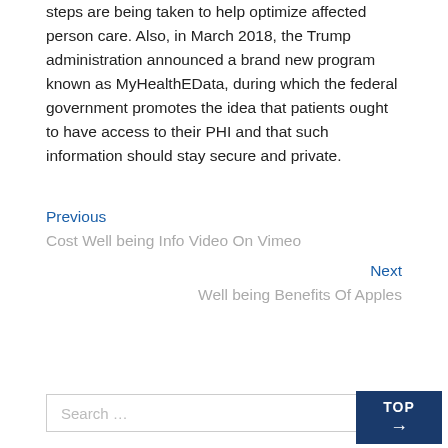steps are being taken to help optimize affected person care. Also, in March 2018, the Trump administration announced a brand new program known as MyHealthEData, during which the federal government promotes the idea that patients ought to have access to their PHI and that such information should stay secure and private.
Previous
Cost Well being Info Video On Vimeo
Next
Well being Benefits Of Apples
Search …